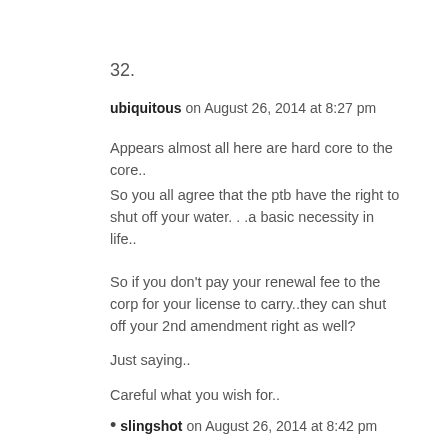32.
ubiquitous on August 26, 2014 at 8:27 pm
Appears almost all here are hard core to the core..
So you all agree that the ptb have the right to shut off your water. . .a basic necessity in life..
So if you don’t pay your renewal fee to the corp for your license to carry..they can shut off your 2nd amendment right as well?
Just saying..
Careful what you wish for..
slingshot on August 26, 2014 at 8:42 pm
If somebody wanted to pay my water bill I would